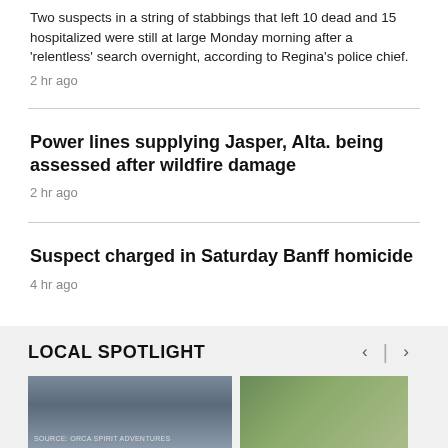Two suspects in a string of stabbings that left 10 dead and 15 hospitalized were still at large Monday morning after a 'relentless' search overnight, according to Regina's police chief.
2 hr ago
Power lines supplying Jasper, Alta. being assessed after wildfire damage
2 hr ago
Suspect charged in Saturday Banff homicide
4 hr ago
LOCAL SPOTLIGHT
[Figure (photo): Two thumbnail images in the Local Spotlight section. Left image shows a building with sky background with a 'SOURCE: ORCA SPIRIT ADVENTURES' watermark. Right image shows an aerial view of a road or path.]